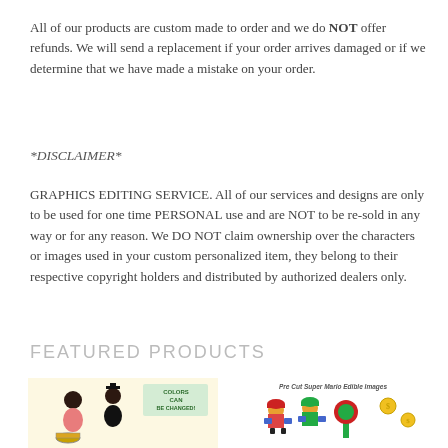All of our products are custom made to order and we do NOT offer refunds. We will send a replacement if your order arrives damaged or if we determine that we have made a mistake on your order.
*DISCLAIMER*
GRAPHICS EDITING SERVICE. All of our services and designs are only to be used for one time PERSONAL use and are NOT to be re-sold in any way or for any reason. We DO NOT claim ownership over the characters or images used in your custom personalized item, they belong to their respective copyright holders and distributed by authorized dealers only.
FEATURED PRODUCTS
[Figure (illustration): Illustrated image of Black women/girls with text 'COLORS CAN BE CHANGED' with graduation theme]
[Figure (illustration): Pre Cut Super Mario Edible Images showing Mario, Luigi, and other characters]